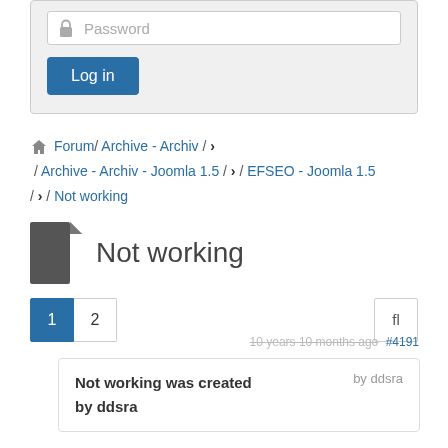[Figure (screenshot): Login form with password field and Log in button on grey background]
Forum / Archive - Archiv / > / Archive - Archiv - Joomla 1.5 / > / EFSEO - Joomla 1.5 / > / Not working
Not working
1  2  fl
10 years 10 months ago #4191 by ddsra
Not working was created by ddsra